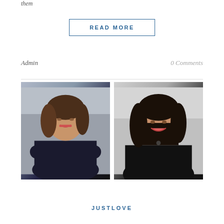them
READ MORE
Admin
0 Comments
[Figure (photo): Professional headshot of a woman with brown hair, wearing a dark navy top, arms crossed, smiling, light gray background]
[Figure (photo): Professional headshot of a woman with long dark hair, wearing a black top, smiling, light gray/white background]
JUSTLOVE